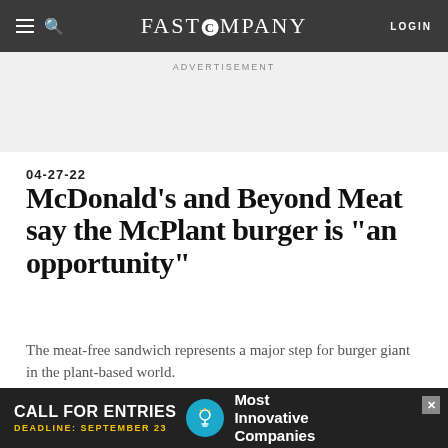FAST COMPANY — LOGIN
ADVERTISEMENT
04-27-22
McDonald’s and Beyond Meat say the McPlant burger is “an opportunity”
The meat-free sandwich represents a major step for burger giant in the plant-based world.
[Figure (photo): Dark image strip showing a burger with yellow bun top visible]
[Figure (infographic): Advertisement banner: CALL FOR ENTRIES DEADLINE: SEPTEMBER 23 — Most Innovative Companies with lightbulb icon]